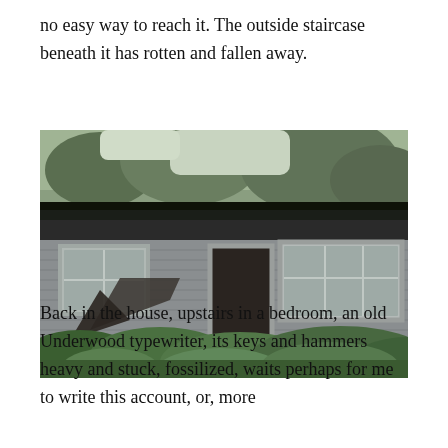no easy way to reach it. The outside staircase beneath it has rotten and fallen away.
[Figure (photo): Photograph of an abandoned, deteriorating wooden house with weathered shingle siding, overgrown vegetation in the foreground, and trees behind. The structure has multiple windows and an open doorway, with a dark mossy roof.]
Back in the house, upstairs in a bedroom, an old Underwood typewriter, its keys and hammers heavy and stuck, fossilized, waits perhaps for me to write this account, or, more